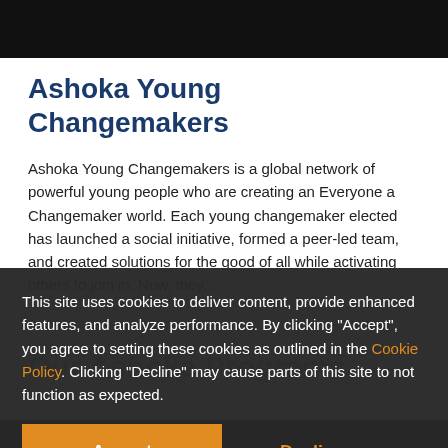[Figure (photo): Dark/black image bar at the top of the page]
Ashoka Young Changemakers
Ashoka Young Changemakers is a global network of powerful young people who are creating an Everyone a Changemaker world. Each young changemaker elected has launched a social initiative, formed a peer-led team, and created solutions for the good of all while activating others to join in. Now, they...
Our Ashoka Programs
This site uses cookies to deliver content, provide enhanced features, and analyze performance. By clicking "Accept", you agree to setting these cookies as outlined in the Cookie Policy. Clicking "Decline" may cause parts of this site to not function as expected.